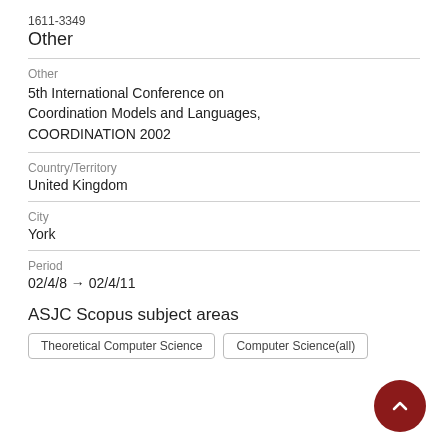1611-3349
Other
Other
5th International Conference on Coordination Models and Languages, COORDINATION 2002
Country/Territory
United Kingdom
City
York
Period
02/4/8 → 02/4/11
ASJC Scopus subject areas
Theoretical Computer Science
Computer Science(all)